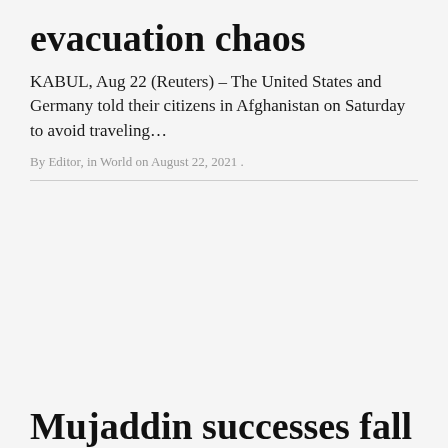evacuation chaos
KABUL, Aug 22 (Reuters) – The United States and Germany told their citizens in Afghanistan on Saturday to avoid traveling...
By Editor, in World on August 22, 2021 .
Mujaddin successes fall